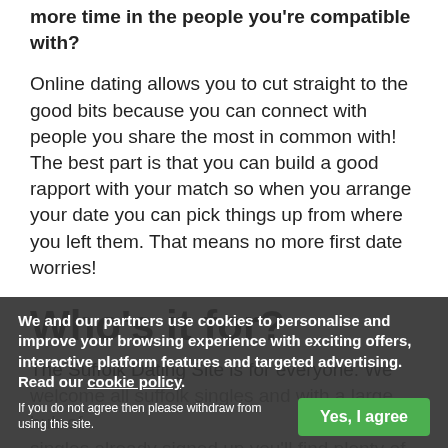more time in the people you're compatible with?
Online dating allows you to cut straight to the good bits because you can connect with people you share the most in common with! The best part is that you can build a good rapport with your match so when you arrange your date you can pick things up from where you left them. That means no more first date worries!
Who's it for?
The Suffolk Dating Site is for everyone. We welcome all suffolk singles and with a large hub of singles already signed up you'll find plenty of groups on board and a wide variety of backgrounds and beliefs so you'll never b... alone and the friendly community will...
We and our partners use cookies to personalise and improve your browsing experience with exciting offers, interactive platform features and targeted advertising. Read our cookie policy.
If you do not agree then please withdraw from using this site.
Yes, I agree